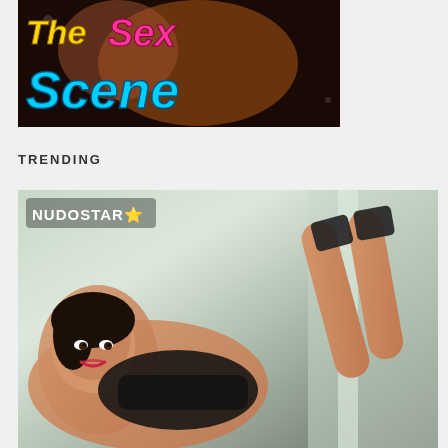[Figure (illustration): Banner graphic with 'The Sex Scene' text in colorful stylized fonts (yellow 'The', pink 'Sex', cyan 'Scene') on a dark background]
TRENDING
[Figure (photo): Photo with 'NUDOSTAR' watermark with star emoji in top left corner, showing a person in black lingerie lying down]